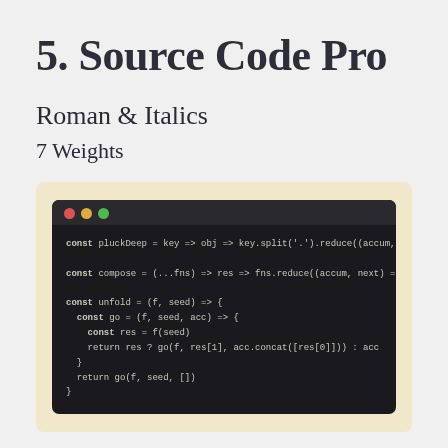5. Source Code Pro
Roman & Italics
7 Weights
[Figure (screenshot): Dark-themed code editor window showing JavaScript code with Source Code Pro monospace font. Three traffic-light dots (red, yellow, green) in the title bar. Code includes const pluckDeep, const compose, and const unfold function definitions.]
It's built to run well in all browser environments...